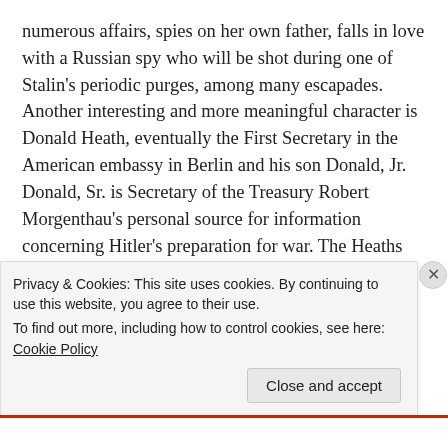numerous affairs, spies on her own father, falls in love with a Russian spy who will be shot during one of Stalin's periodic purges, among many escapades.  Another interesting and more meaningful character is Donald Heath, eventually the First Secretary in the American embassy in Berlin and his son Donald, Jr.  Donald, Sr. is Secretary of the Treasury Robert Morgenthau's personal source for information concerning Hitler's preparation for war. The Heaths and Harnacks become close friends and share intelligence to the point both families use the eleven year old Donald, Jr. as a courier to deliver important intelligence.  Donner makes the excellent point that American intelligence before the war and early on
Privacy & Cookies: This site uses cookies. By continuing to use this website, you agree to their use.
To find out more, including how to control cookies, see here: Cookie Policy